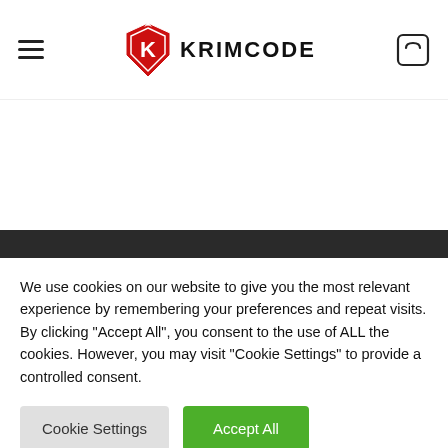[Figure (logo): Krimcode logo with shield emblem and text KRIMCODE in navbar]
[Figure (illustration): Dark banner section with partial Krimcode logo visible at bottom]
We use cookies on our website to give you the most relevant experience by remembering your preferences and repeat visits. By clicking "Accept All", you consent to the use of ALL the cookies. However, you may visit "Cookie Settings" to provide a controlled consent.
Cookie Settings
Accept All